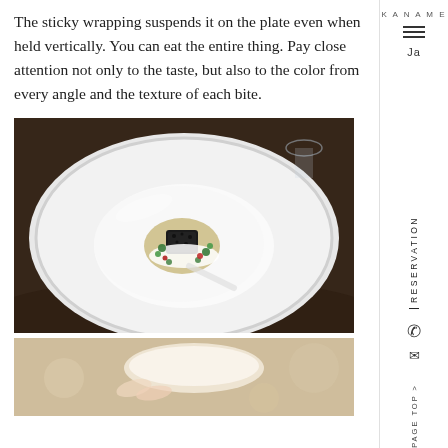KANAME
The sticky wrapping suspends it on the plate even when held vertically. You can eat the entire thing. Pay close attention not only to the taste, but also to the color from every angle and the texture of each bite.
[Figure (photo): A fine-dining dish presented on a large white plate with a small portion of food topped with black truffle or caviar, garnished with green herbs and red berries, in a cream sauce, photographed from a slight angle above.]
[Figure (photo): Close-up of a hand holding a white cup or bowl, partial view from below.]